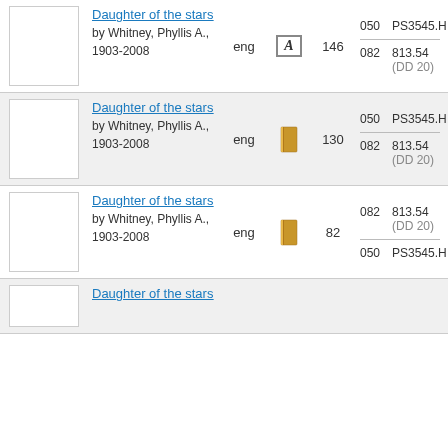| thumb | title/author | lang | icon | count | classifications |
| --- | --- | --- | --- | --- | --- |
| [img] | Daughter of the stars / by Whitney, Phyllis A., 1903-2008 | eng | [A icon] | 146 | 050: PS3545.H
082: 813.54 (DD 20) |
| [img] | Daughter of the stars / by Whitney, Phyllis A., 1903-2008 | eng | [book icon] | 130 | 050: PS3545.H
082: 813.54 (DD 20) |
| [img] | Daughter of the stars / by Whitney, Phyllis A., 1903-2008 | eng | [book icon] | 82 | 082: 813.54 (DD 20)
050: PS3545.H |
| [img] | Daughter of the stars / by Whitney, Phyllis A., 1903-2008 | eng |  |  |  |